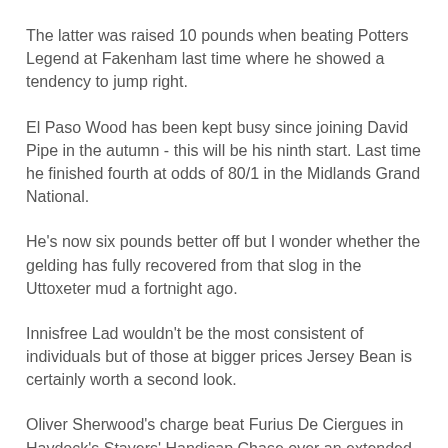The latter was raised 10 pounds when beating Potters Legend at Fakenham last time where he showed a tendency to jump right.
El Paso Wood has been kept busy since joining David Pipe in the autumn - this will be his ninth start. Last time he finished fourth at odds of 80/1 in the Midlands Grand National.
He's now six pounds better off but I wonder whether the gelding has fully recovered from that slog in the Uttoxeter mud a fortnight ago.
Innisfree Lad wouldn't be the most consistent of individuals but of those at bigger prices Jersey Bean is certainly worth a second look.
Oliver Sherwood's charge beat Furius De Ciergues in Haydock's Stayers' Handicap Chase over an extended three and a half miles in November and looks to have been trained specifically for this.